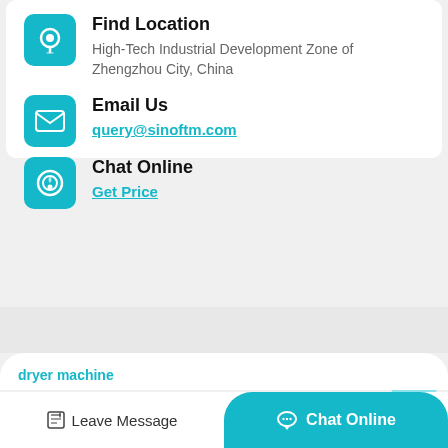Find Location
High-Tech Industrial Development Zone of Zhengzhou City, China
Email Us
query@sinoftm.com
Chat Online
Get Price
dryer machine
Dryer Duct Vacuum Attachment
Leave Message
Chat Online